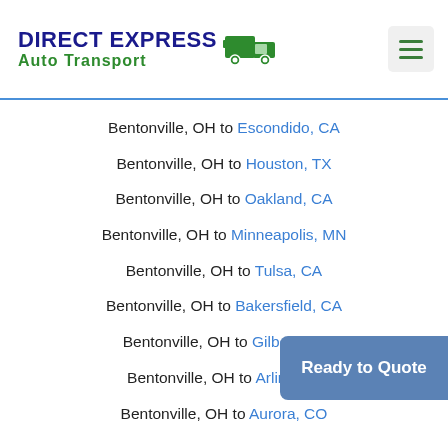DIRECT EXPRESS Auto Transport
Bentonville, OH to Escondido, CA
Bentonville, OH to Houston, TX
Bentonville, OH to Oakland, CA
Bentonville, OH to Minneapolis, MN
Bentonville, OH to Tulsa, CA
Bentonville, OH to Bakersfield, CA
Bentonville, OH to Gilbert, AZ
Bentonville, OH to Arlington,
Bentonville, OH to Aurora, CO
[Figure (other): Ready to Quote button overlay]